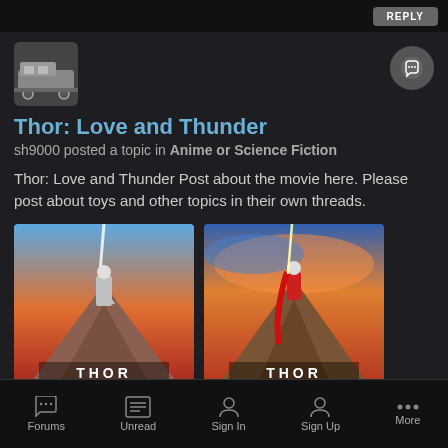REPLY
Thor: Love and Thunder
sh9000 posted a topic in Anime or Science Fiction
Thor: Love and Thunder Post about the movie here. Please post about toys and other topics in their own threads.
[Figure (photo): Two Thor: Love and Thunder movie poster thumbnails side by side]
May 22, 2021   65 replies
thor   marvel cinematic universe   (and 7 more)
Forums   Unread   Sign In   Sign Up   More